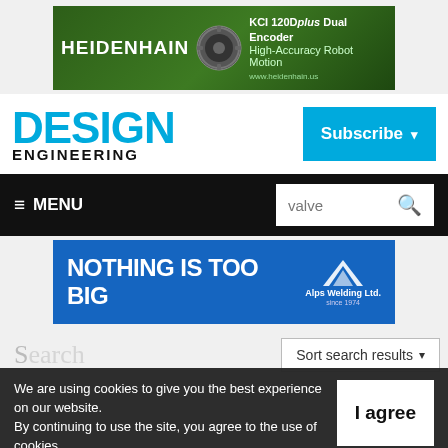[Figure (infographic): HEIDENHAIN advertisement banner: green background with gear image, text 'KCI 120Dplus Dual Encoder High-Accuracy Robot Motion', website www.heidenhain.us]
[Figure (logo): Design Engineering magazine logo - DESIGN in large cyan letters, ENGINEERING in black below]
[Figure (infographic): Subscribe button in cyan/blue color with dropdown arrow]
≡ MENU
valve (search box)
[Figure (infographic): Alps Welding Ltd advertisement: blue background, white text 'NOTHING IS TOO BIG', Alps Welding Ltd. logo with mountain icon, 'since 1974']
Sort search results ▾
We are using cookies to give you the best experience on our website.
By continuing to use the site, you agree to the use of cookies.
To find out more, read our privacy policy.
I agree